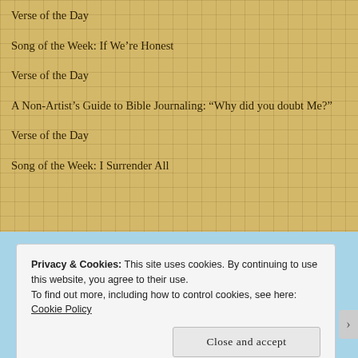Verse of the Day
Song of the Week: If We're Honest
Verse of the Day
A Non-Artist's Guide to Bible Journaling: “Why did you doubt Me?”
Verse of the Day
Song of the Week: I Surrender All
Privacy & Cookies: This site uses cookies. By continuing to use this website, you agree to their use.
To find out more, including how to control cookies, see here: Cookie Policy
Close and accept